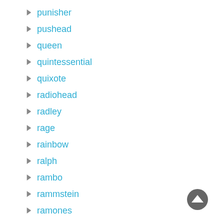punisher
pushead
queen
quintessential
quixote
radiohead
radley
rage
rainbow
ralph
rambo
rammstein
ramones